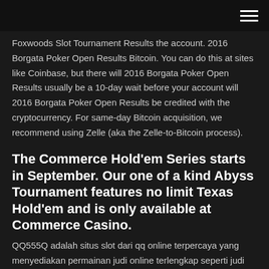[hamburger menu icon]
Foxwoods Slot Tournament Results the account. 2016 Borgata Poker Open Results Bitcoin. You can do this at sites like Coinbase, but there will 2016 Borgata Poker Open Results usually be a 10-day wait before your account will 2016 Borgata Poker Open Results be credited with the cryptocurrency. For same-day Bitcoin acquisition, we recommend using Zelle (aka the Zelle-to-Bitcoin process).
The Commerce Hold'em Series starts in September. Our one of a kind Abyss Tournament features no limit Texas Hold'em and is only available at Commerce Casino.
QQ555Q adalah situs slot dari qq online terpercaya yang menyediakan permainan judi online terlengkap seperti judi